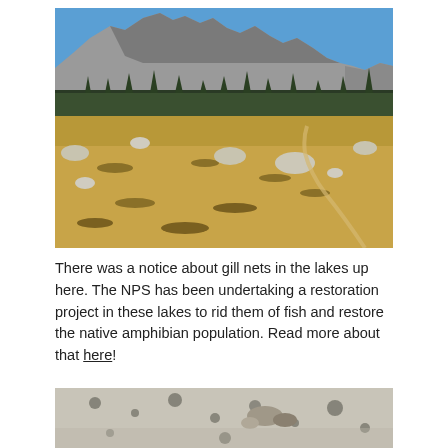[Figure (photo): Landscape photograph showing a high-altitude meadow with scattered rocks and dry golden grasses in the foreground, a dirt trail visible on the right side, a band of pine trees in the middle ground, and dramatic jagged granite mountain peaks under a clear blue sky in the background.]
There was a notice about gill nets in the lakes up here. The NPS has been undertaking a restoration project in these lakes to rid them of fish and restore the native amphibian population. Read more about that here!
[Figure (photo): Close-up photograph of a large pale granite rock surface with dark lichen spots, and smaller rocks resting on top of it.]